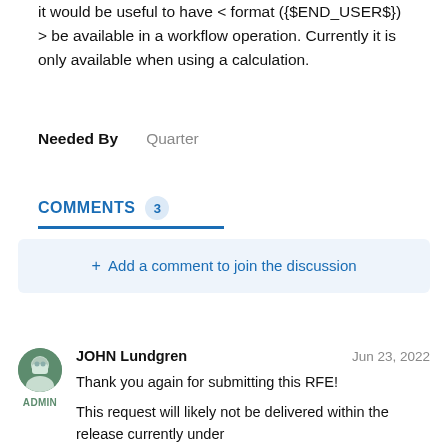it would be useful to have < format ({$END_USER$}) > be available in a workflow operation. Currently it is only available when using a calculation.
Needed By   Quarter
COMMENTS 3
+ Add a comment to join the discussion
JOHN Lundgren   Jun 23, 2022
ADMIN
Thank you again for submitting this RFE!

This request will likely not be delivered within the release currently under